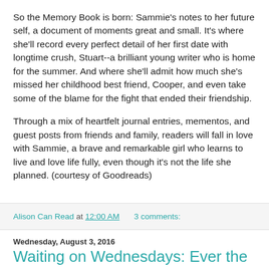So the Memory Book is born: Sammie's notes to her future self, a document of moments great and small. It's where she'll record every perfect detail of her first date with longtime crush, Stuart--a brilliant young writer who is home for the summer. And where she'll admit how much she's missed her childhood best friend, Cooper, and even take some of the blame for the fight that ended their friendship.
Through a mix of heartfelt journal entries, mementos, and guest posts from friends and family, readers will fall in love with Sammie, a brave and remarkable girl who learns to live and love life fully, even though it's not the life she planned. (courtesy of Goodreads)
Alison Can Read at 12:00 AM   3 comments:
Wednesday, August 3, 2016
Waiting on Wednesdays: Ever the